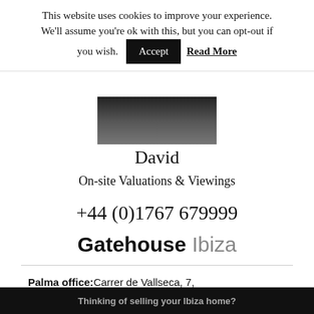This website uses cookies to improve your experience. We'll assume you're ok with this, but you can opt-out if you wish. Accept  Read More
[Figure (photo): Partial photo of a person in a suit/tie, cropped showing chest and lower face area, grayscale]
David
On-site Valuations & Viewings
+44 (0)1767 679999
Gatehouse Ibiza
Palma office: Carrer de Vallseca, 7,
Thinking of selling your Ibiza home?